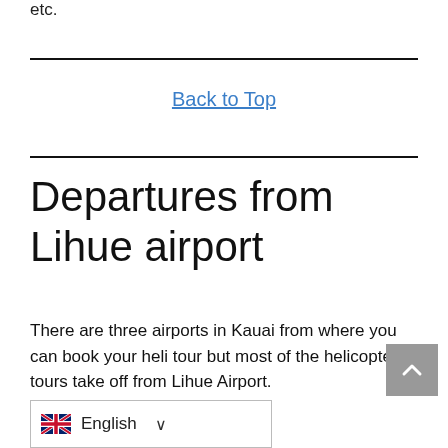etc.
Back to Top
Departures from Lihue airport
There are three airports in Kauai from where you can book your heli tour but most of the helicopter tours take off from Lihue Airport.